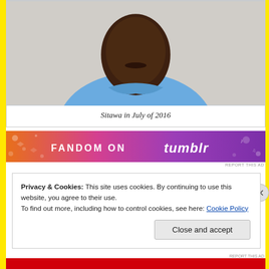[Figure (photo): Photo of Sitawa, a person wearing a blue shirt, shown from the shoulders up against a white background. The image is cropped at the top.]
Sitawa in July of 2016
[Figure (other): Advertisement banner: FANDOM ON tumblr with colorful orange-to-purple gradient background with decorative patterns]
Privacy & Cookies: This site uses cookies. By continuing to use this website, you agree to their use.
To find out more, including how to control cookies, see here: Cookie Policy
Close and accept